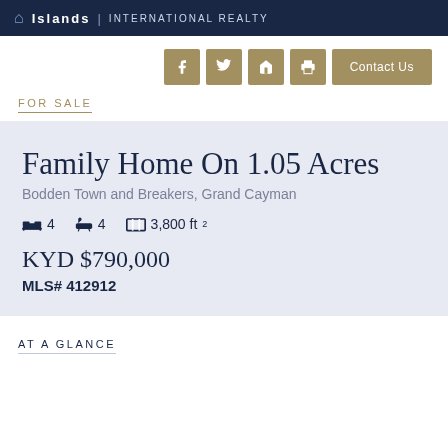Islands | INTERNATIONAL REALTY
FOR SALE
Family Home On 1.05 Acres
Bodden Town and Breakers, Grand Cayman
4 beds  4 baths  3,800 ft²
KYD $790,000
MLS# 412912
AT A GLANCE